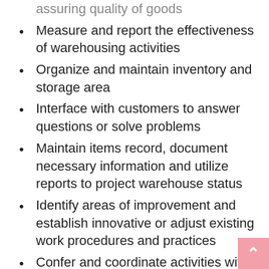assuring quality of goods
Measure and report the effectiveness of warehousing activities
Organize and maintain inventory and storage area
Interface with customers to answer questions or solve problems
Maintain items record, document necessary information and utilize reports to project warehouse status
Identify areas of improvement and establish innovative or adjust existing work procedures and practices
Confer and coordinate activities with other departments
Well experienced and Knowledgeable especially in spare parts